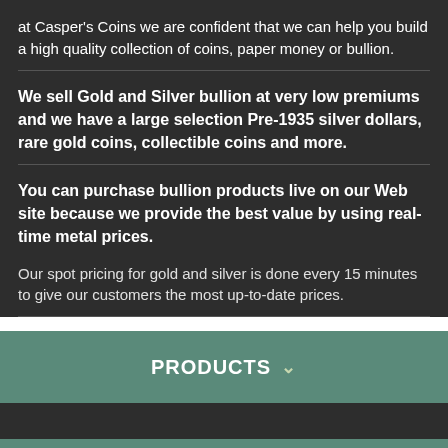at Casper's Coins we are confident that we can help you build a high quality collection of coins, paper money or bullion.
We sell Gold and Silver bullion at very low premiums and we have a large selection Pre-1935 silver dollars, rare gold coins, collectible coins and more.
You can purchase bullion products live on our Web site because we provide the best value by using real-time metal prices.
Our spot pricing for gold and silver is done every 15 minutes to give our customers the most up-to-date prices.
PRODUCTS
COINS